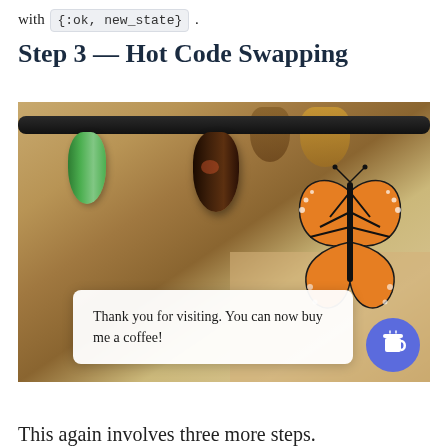with {:ok, new_state} .
Step 3 — Hot Code Swapping
[Figure (photo): Photo of butterfly chrysalises hanging from a rod — a green chrysalis on the left, a dark brown chrysalis in the middle, and a monarch butterfly emerging on the right. A popup overlay card reads: 'Thank you for visiting. You can now buy me a coffee!' with a blue coffee cup button.]
This again involves three more steps.